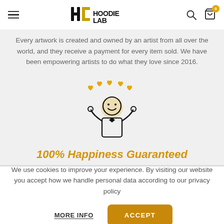HoodieLab navigation header with menu, logo, search, and cart icons
Every artwork is created and owned by an artist from all over the world, and they receive a payment for every item sold. We have been empowering artists to do what they love since 2016.
[Figure (illustration): Icon of a happy person with arms raised and golden hearts floating above, representing happiness guarantee]
100% Happiness Guaranteed
We use cookies to improve your experience. By visiting our website you accept how we handle personal data according to our privacy policy
MORE INFO   ACCEPT